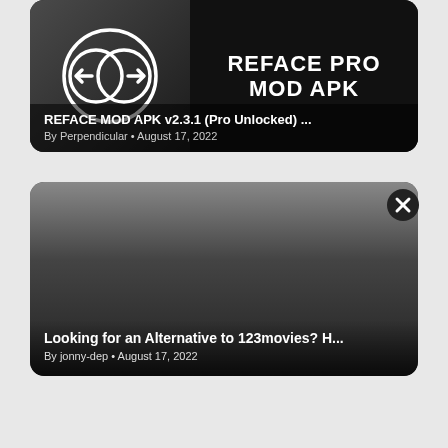[Figure (screenshot): Card showing REFACE PRO MOD APK with logo on dark background. Title text reads REFACE PRO MOD APK with a circular logo on left. Post title: REFACE MOD APK v2.3.1 (Pro Unlocked) ... By Perpendicular • August 17, 2022]
[Figure (screenshot): Card showing dark gradient background with close (X) button in top-right. Post title: Looking for an Alternative to 123movies? H... By jonny-dep • August 17, 2022]